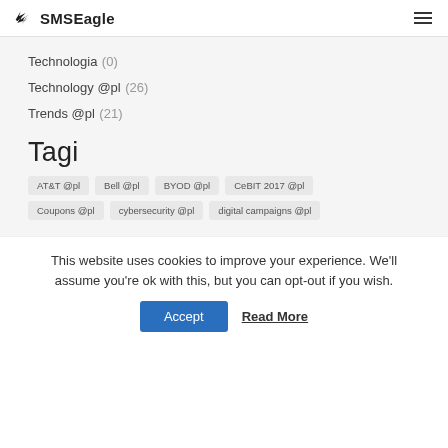SMSEagle
Technologia (0)
Technology @pl (26)
Trends @pl (21)
Tagi
AT&T @pl  Bell @pl  BYOD @pl  CeBIT 2017 @pl
Coupons @pl  cybersecurity @pl  digital campaigns @pl
This website uses cookies to improve your experience. We'll assume you're ok with this, but you can opt-out if you wish.
Accept  Read More